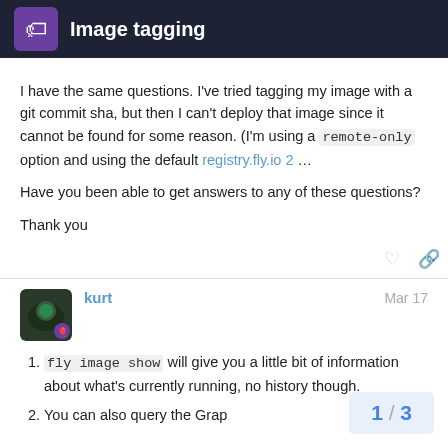Image tagging
I have the same questions. I've tried tagging my image with a git commit sha, but then I can't deploy that image since it cannot be found for some reason. (I'm using a remote-only option and using the default registry.fly.io 2 …
Have you been able to get answers to any of these questions?
Thank you
kurt  Mar 17
fly image show will give you a little bit of information about what's currently running, no history though.
You can also query the Grap…